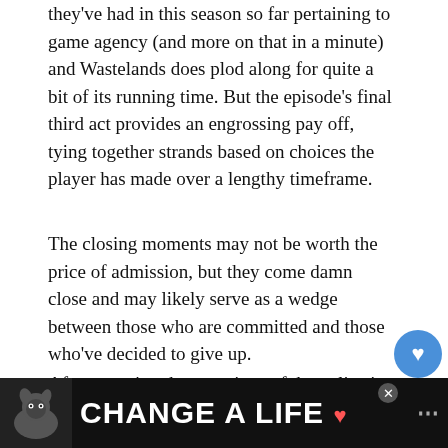they've had in this season so far pertaining to game agency (and more on that in a minute) and Wastelands does plod along for quite a bit of its running time. But the episode's final third act provides an engrossing pay off, tying together strands based on choices the player has made over a lengthy timeframe.
The closing moments may not be worth the price of admission, but they come damn close and may likely serve as a wedge between those who are committed and those who've decided to give up.
After escaping the attentions of the police in Episode 2, Wastelands sees the Diaz brothers – teenager younger brother Daniel – wind up on a marijuana farm in the woods. The farm is run by a bald, bespectacled bloke named Me...
[Figure (screenshot): What's Next widget showing Ewan McGregor thumbnail with arrow]
[Figure (screenshot): Bottom advertisement banner reading CHANGE A LIFE with a dog image]